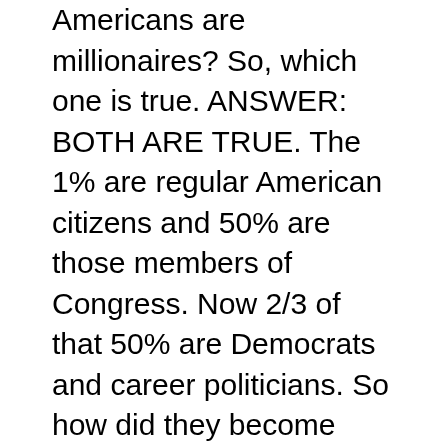Americans are millionaires? So, which one is true. ANSWER: BOTH ARE TRUE. The 1% are regular American citizens and 50% are those members of Congress. Now 2/3 of that 50% are Democrats and career politicians. So how did they become millionaires on their salary? (IRS DATA RECORDS). Can you say they are bought and paid for by "BIG PHARMA AND BY BILLIONAIRES" to push the agenda and pass laws that profit billionaires like George Soros and Bill Gates. These career politicians who love the prestige and power lie, cheat, and steal to stay in office. If you think they care about you, then you have deceived yourself.

Do you realize that ALL those in Congress get FREE...